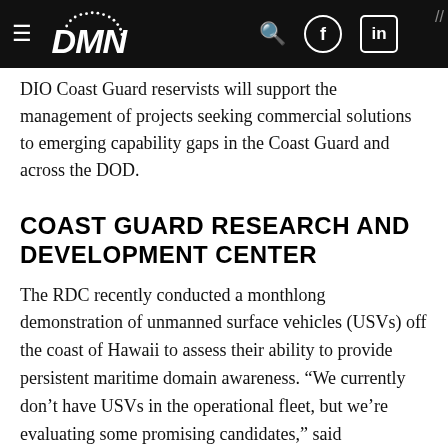DMN (logo header bar)
DIO Coast Guard reservists will support the management of projects seeking commercial solutions to emerging capability gaps in the Coast Guard and across the DOD.
COAST GUARD RESEARCH AND DEVELOPMENT CENTER
The RDC recently conducted a monthlong demonstration of unmanned surface vehicles (USVs) off the coast of Hawaii to assess their ability to provide persistent maritime domain awareness. “We currently don’t have USVs in the operational fleet, but we’re evaluating some promising candidates,” said Chaves.“Two of them are participating in response to a request for proposals the Coast Guard issued, and another is an unmanned/optionally manned asset we